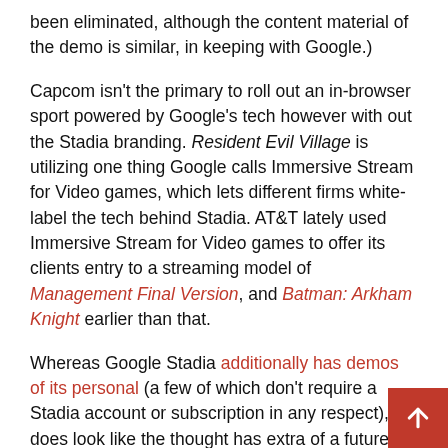been eliminated, although the content material of the demo is similar, in keeping with Google.)
Capcom isn't the primary to roll out an in-browser sport powered by Google's tech however with out the Stadia branding. Resident Evil Village is utilizing one thing Google calls Immersive Stream for Video games, which lets different firms white-label the tech behind Stadia. AT&T lately used Immersive Stream for Video games to offer its clients entry to a streaming model of Management Final Version, and Batman: Arkham Knight earlier than that.
Whereas Google Stadia additionally has demos of its personal (a few of which don't require a Stadia account or subscription in any respect), it does look like the thought has extra of a future as a white-label product that firms like Capcom can use for demos, moderately than a standalone gaming service like Nvidia's GeForce...